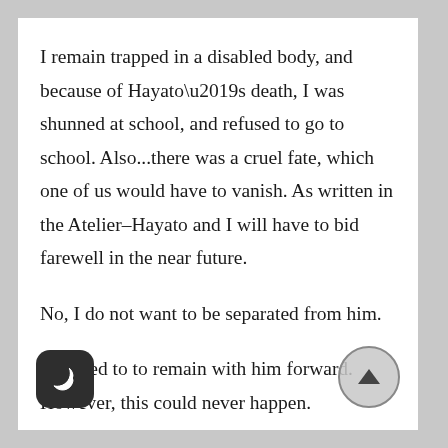I remain trapped in a disabled body, and because of Hayato’s death, I was shunned at school, and refused to go to school. Also...there was a cruel fate, which one of us would have to vanish. As written in the Atelier–Hayato and I will have to bid farewell in the near future.
No, I do not want to be separated from him.
I wanted to to remain with him forward. However, this could never happen.
I could not live in a world without him. However, [I] could not imprison him inside this body and vanish by myself. I...no longer needed friends. I